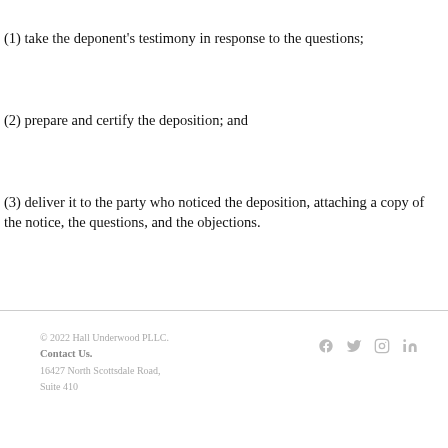(1) take the deponent’s testimony in response to the questions;
(2) prepare and certify the deposition; and
(3) deliver it to the party who noticed the deposition, attaching a copy of the notice, the questions, and the objections.
© 2022 Hall Underwood PLLC. Contact Us. 16427 North Scottsdale Road, Suite 410